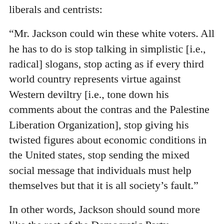liberals and centrists:
“Mr. Jackson could win these white voters. All he has to do is stop talking in simplistic [i.e., radical] slogans, stop acting as if every third world country represents virtue against Western deviltry [i.e., tone down his comments about the contras and the Palestine Liberation Organization], stop giving his twisted figures about economic conditions in the United states, stop sending the mixed social message that individuals must help themselves but that it is all society’s fault.”
In other words, Jackson should sound more like the rest of the Democratic Party candidates.
Jackson’s blend of left-liberal stances on many pressing issues has obviously touched a responsive chord among many voters. Significant numbers in states as disparate as agrarian Iowa and industrial Michigan have supported Jackson